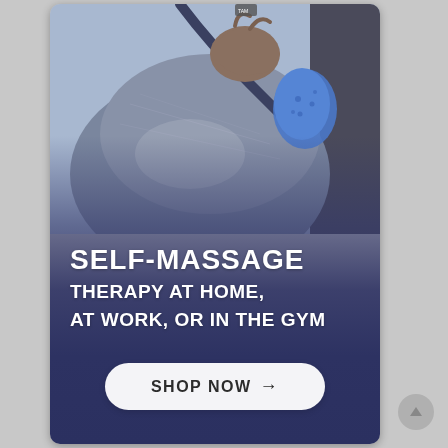[Figure (photo): Person applying a blue self-massage tool to their shoulder/upper back area, wearing a grey athletic top. Background shows an outdoor or gym setting. Lower portion of image transitions into a dark navy/purple gradient overlay.]
SELF-MASSAGE THERAPY AT HOME, AT WORK, OR IN THE GYM
SHOP NOW →